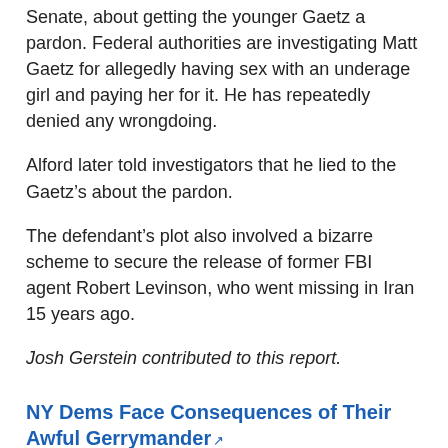Senate, about getting the younger Gaetz a pardon. Federal authorities are investigating Matt Gaetz for allegedly having sex with an underage girl and paying her for it. He has repeatedly denied any wrongdoing.
Alford later told investigators that he lied to the Gaetz’s about the pardon.
The defendant’s plot also involved a bizarre scheme to secure the release of former FBI agent Robert Levinson, who went missing in Iran 15 years ago.
Josh Gerstein contributed to this report.
NY Dems Face Consequences of Their Awful Gerrymander
Real Clear Politics - 3 hours 55 min ago
New York Democrats, finally with unified control of Albany during a redistricting cycle, drew the House